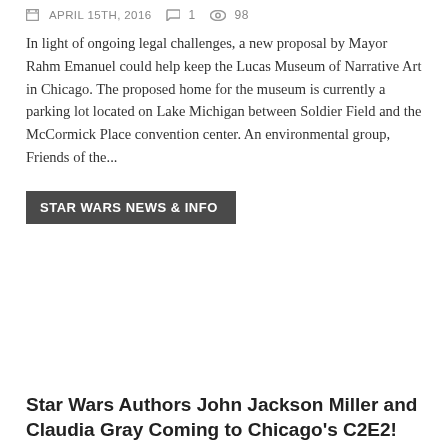APRIL 15TH, 2016   1   98
In light of ongoing legal challenges, a new proposal by Mayor Rahm Emanuel could help keep the Lucas Museum of Narrative Art in Chicago. The proposed home for the museum is currently a parking lot located on Lake Michigan between Soldier Field and the McCormick Place convention center. An environmental group, Friends of the...
STAR WARS NEWS & INFO
Star Wars Authors John Jackson Miller and Claudia Gray Coming to Chicago's C2E2!